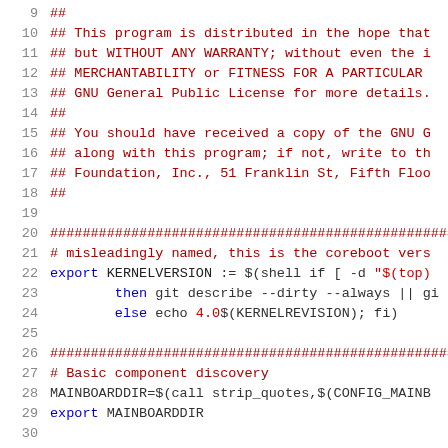Source code listing, lines 9-29, Makefile with comments and shell export statements